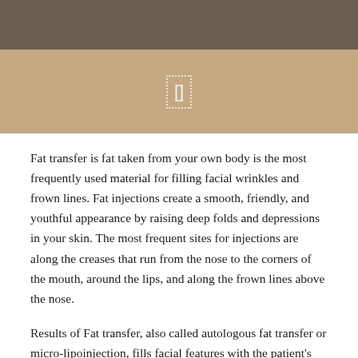[Figure (other): Decorative icon/logo placeholder shown as a dotted rectangle with a bracket or box symbol, displayed on a tan/beige background banner.]
Fat transfer is fat taken from your own body is the most frequently used material for filling facial wrinkles and frown lines. Fat injections create a smooth, friendly, and youthful appearance by raising deep folds and depressions in your skin. The most frequent sites for injections are along the creases that run from the nose to the corners of the mouth, around the lips, and along the frown lines above the nose.
Results of Fat transfer, also called autologous fat transfer or micro-lipoinjection, fills facial features with the patient's own fat. Because the fat comes from your own body, you